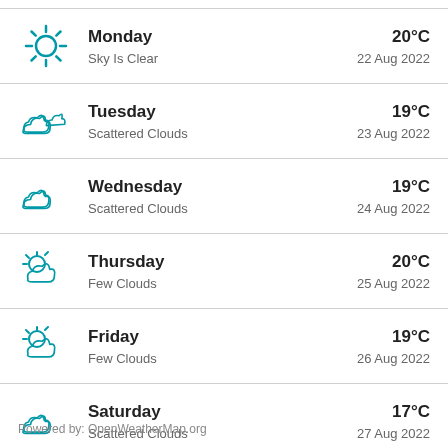Monday | Sky Is Clear | 20°C | 22 Aug 2022
Tuesday | Scattered Clouds | 19°C | 23 Aug 2022
Wednesday | Scattered Clouds | 19°C | 24 Aug 2022
Thursday | Few Clouds | 20°C | 25 Aug 2022
Friday | Few Clouds | 19°C | 26 Aug 2022
Saturday | Scattered Clouds | 17°C | 27 Aug 2022
Powered by: OpenWeatherMap.org